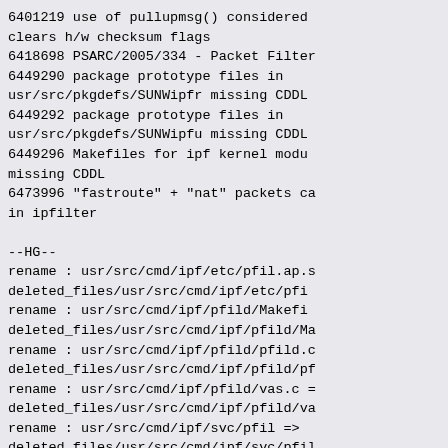6401219 use of pullupmsg() considered clears h/w checksum flags
6418698 PSARC/2005/334 - Packet Filter
6449290 package prototype files in usr/src/pkgdefs/SUNWipfr missing CDDL
6449292 package prototype files in usr/src/pkgdefs/SUNWipfu missing CDDL
6449296 Makefiles for ipf kernel modules missing CDDL
6473996 "fastroute" + "nat" packets ca in ipfilter

--HG--
rename : usr/src/cmd/ipf/etc/pfil.ap.s
deleted_files/usr/src/cmd/ipf/etc/pfi
rename : usr/src/cmd/ipf/pfild/Makefi
deleted_files/usr/src/cmd/ipf/pfild/Ma
rename : usr/src/cmd/ipf/pfild/pfild.c
deleted_files/usr/src/cmd/ipf/pfild/pf
rename : usr/src/cmd/ipf/pfild/vas.c =
deleted_files/usr/src/cmd/ipf/pfild/va
rename : usr/src/cmd/ipf/svc/pfil =>
deleted_files/usr/src/cmd/ipf/svc/pfil
rename : usr/src/cmd/ipf/svc/pfil.xml
deleted_files/usr/src/cmd/ipf/svc/pfil